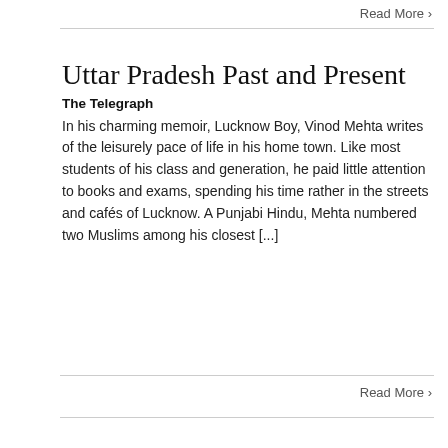Read More >
Uttar Pradesh Past and Present
The Telegraph
In his charming memoir, Lucknow Boy, Vinod Mehta writes of the leisurely pace of life in his home town. Like most students of his class and generation, he paid little attention to books and exams, spending his time rather in the streets and cafés of Lucknow. A Punjabi Hindu, Mehta numbered two Muslims among his closest [...]
Read More >